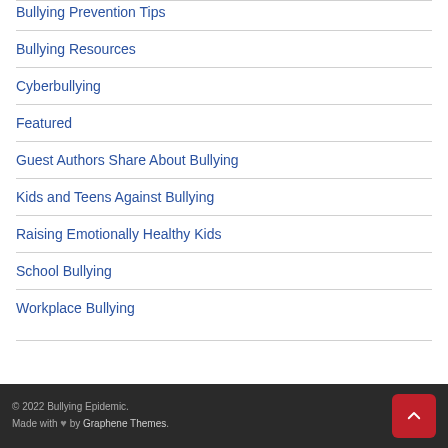Bullying Prevention Tips
Bullying Resources
Cyberbullying
Featured
Guest Authors Share About Bullying
Kids and Teens Against Bullying
Raising Emotionally Healthy Kids
School Bullying
Workplace Bullying
© 2022 Bullying Epidemic. Made with ♥ by Graphene Themes.